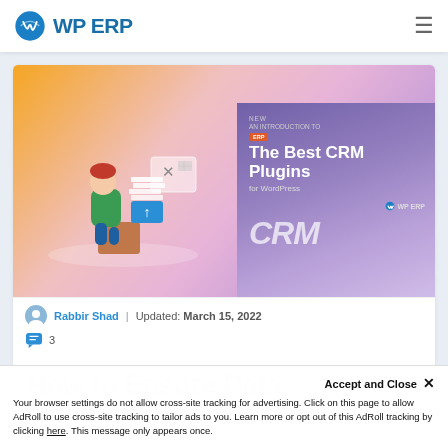WP ERP
[Figure (illustration): Blog article hero image showing a person working with documents on the left side (orange/pink gradient background) and an overlaid CRM plugin promotional card on the right (purple gradient) with text 'The Best CRM Plugin for WordPress' and WP ERP logo]
Rabbir Shad | Updated: March 15, 2022  3
How to Ensure Data Migration To You...
Your browser settings do not allow cross-site tracking for advertising. Click on this page to allow AdRoll to use cross-site tracking to tailor ads to you. Learn more or opt out of this AdRoll tracking by clicking here. This message only appears once.